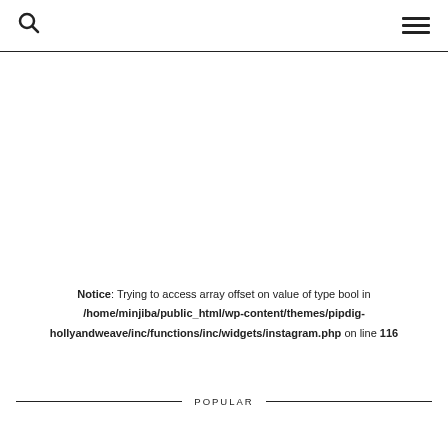Search | Menu
Notice: Trying to access array offset on value of type bool in /home/minjiba/public_html/wp-content/themes/pipdig-hollyandweave/inc/functions/inc/widgets/instagram.php on line 116
POPULAR